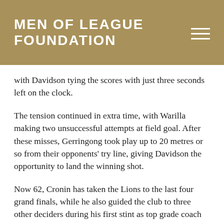MEN OF LEAGUE FOUNDATION
with Davidson tying the scores with just three seconds left on the clock.
The tension continued in extra time, with Warilla making two unsuccessful attempts at field goal. After these misses, Gerringong took play up to 20 metres or so from their opponents' try line, giving Davidson the opportunity to land the winning shot.
Now 62, Cronin has taken the Lions to the last four grand finals, while he also guided the club to three other deciders during his first stint as top grade coach in the late 1980s.
In 2010, when he returned as Gerringong's first grade coach, the team won the premiership when Cronin's son